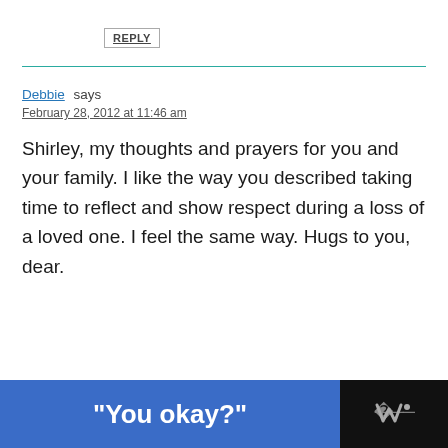REPLY
Debbie says
February 28, 2012 at 11:46 am
Shirley, my thoughts and prayers for you and your family. I like the way you described taking time to reflect and show respect during a loss of a loved one. I feel the same way. Hugs to you, dear.
[Figure (other): Advertisement banner with blue background showing text 'You okay?' and a logo on dark background]